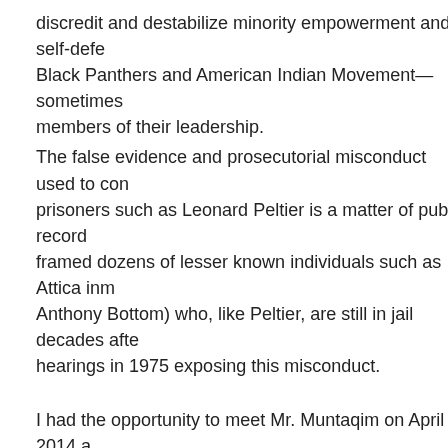discredit and destabilize minority empowerment and self-defense organizations like the Black Panthers and American Indian Movement— sometimes even murdering members of their leadership.
The false evidence and prosecutorial misconduct used to convict political prisoners such as Leonard Peltier is a matter of public record. The FBI also framed dozens of lesser known individuals such as Attica inmate Jalil Muntaqim (Anthony Bottom) who, like Peltier, are still in jail decades after Congressional hearings in 1975 exposing this misconduct.
I had the opportunity to meet Mr. Muntaqim on April 9, 2014 at his parole hearings, he told me, was that they never proposed a remedy for enforcement officers during the COINTELPRO years.
Among the irregularities in his own prosecution for the murder was [cattle prod and needles in his testicles] to get him to testify against the killings. When he told the judge he was testifying only becaus